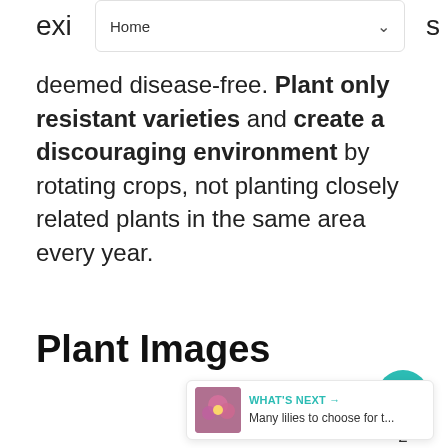Home
exi... s deemed disease-free. Plant only resistant varieties and create a discouraging environment by rotating crops, not planting closely related plants in the same area every year.
Plant Images
[Figure (screenshot): UI widget showing a teal heart/like button with count of 2 and a share button below]
[Figure (screenshot): "What's Next" banner showing a flower image thumbnail with text "Many lilies to choose for t..."]